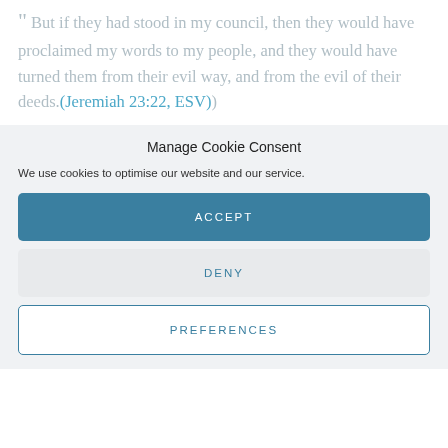" But if they had stood in my council, then they would have proclaimed my words to my people, and they would have turned them from their evil way, and from the evil of their deeds.(Jeremiah 23:22, ESV)
Manage Cookie Consent
We use cookies to optimise our website and our service.
ACCEPT
DENY
PREFERENCES